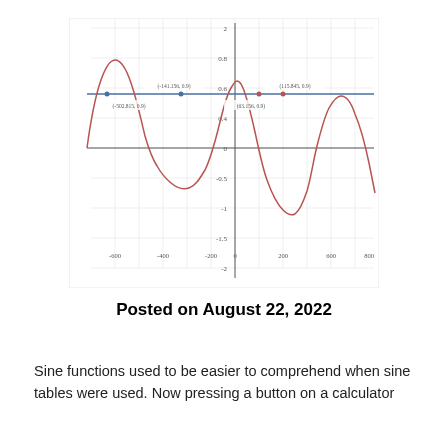[Figure (continuous-plot): A sine curve (red/brown) plotted on a coordinate grid with a horizontal blue line at y=0.9. The sine wave shows one full cycle visible, with labeled intersection points: (-502.815, 0.9), (-141.156, 0.9), (63.156, 0.9), (115.845, 0.9). The x-axis spans roughly -600 to 800 and y-axis from about -2 to 2.]
Posted on August 22, 2022
Sine functions used to be easier to comprehend when sine tables were used. Now pressing a button on a calculator